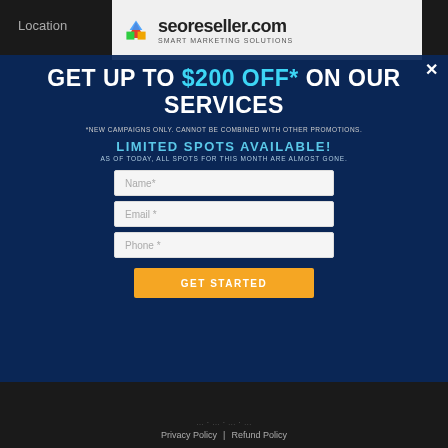[Figure (logo): seoreseller.com logo with house icon and SMART MARKETING SOLUTIONS tagline]
Location
GET UP TO $200 OFF* ON OUR SERVICES
*NEW CAMPAIGNS ONLY. CANNOT BE COMBINED WITH OTHER PROMOTIONS.
LIMITED SPOTS AVAILABLE!
AS OF TODAY, ALL SPOTS FOR THIS MONTH ARE ALMOST GONE.
Name*
Email *
Phone *
GET STARTED
Privacy Policy | Refund Policy